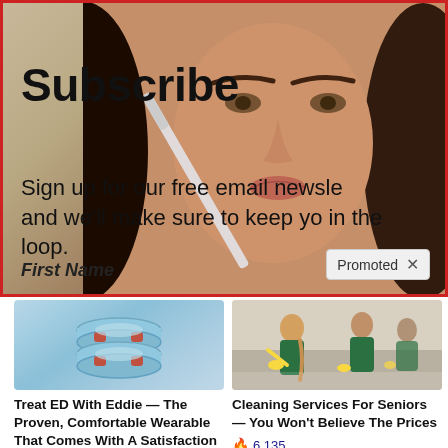[Figure (photo): Banner with a woman applying makeup/skincare product to her face, overlaid with subscribe text and red border]
Subscribe
Sign up for our free email newsletter and we'll make sure to keep you in the loop.
First Name
Promoted ×
[Figure (photo): Light blue wearable device rings stacked, product photo for Eddie ED treatment device]
Treat ED With Eddie — The Proven, Comfortable Wearable That Comes With A Satisfaction Guarantee
🔥 160,646
[Figure (photo): Three women in green cleaning uniforms cleaning a room]
Cleaning Services For Seniors — You Won't Believe The Prices
🔥 6,135